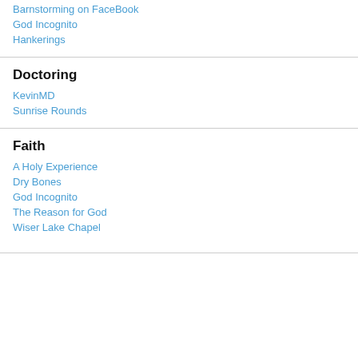Barnstorming on FaceBook
God Incognito
Hankerings
Doctoring
KevinMD
Sunrise Rounds
Faith
A Holy Experience
Dry Bones
God Incognito
The Reason for God
Wiser Lake Chapel